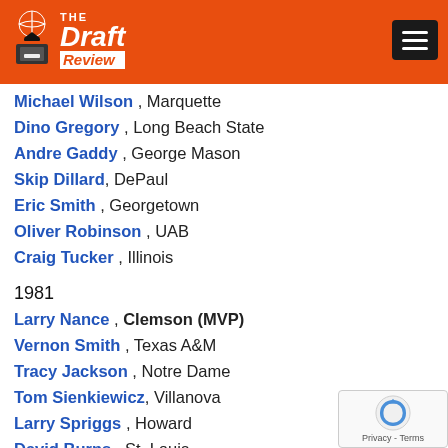[Figure (logo): The Draft Review basketball website logo with orange background header and hamburger menu button]
Michael Wilson , Marquette
Dino Gregory , Long Beach State
Andre Gaddy , George Mason
Skip Dillard , DePaul
Eric Smith , Georgetown
Oliver Robinson , UAB
Craig Tucker , Illinois
1981
Larry Nance , Clemson (MVP)
Vernon Smith , Texas A&M
Tracy Jackson , Notre Dame
Tom Sienkiewicz, Villanova
Larry Spriggs , Howard
David Burns , St. Louis
Andra Griffin, Washington